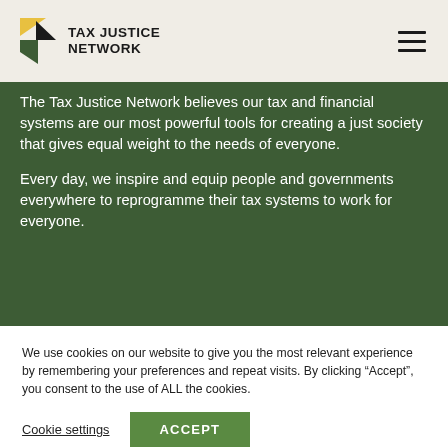TAX JUSTICE NETWORK
The Tax Justice Network believes our tax and financial systems are our most powerful tools for creating a just society that gives equal weight to the needs of everyone.
Every day, we inspire and equip people and governments everywhere to reprogramme their tax systems to work for everyone.
We use cookies on our website to give you the most relevant experience by remembering your preferences and repeat visits. By clicking “Accept”, you consent to the use of ALL the cookies.
Cookie settings
ACCEPT